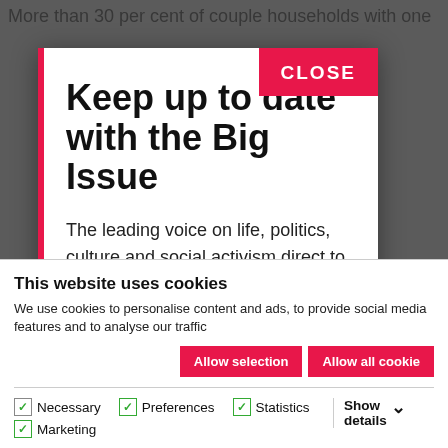More than 30 per cent of couple households with one
Keep up to date with the Big Issue
The leading voice on life, politics, culture and social activism direct to your inbox.
This website uses cookies
We use cookies to personalise content and ads, to provide social media features and to analyse our traffic
Allow selection
Allow all cookies
Necessary   Preferences   Statistics   Marketing   Show details